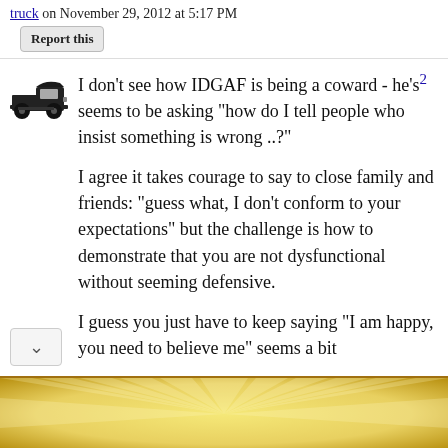truck on November 29, 2012 at 5:17 PM
Report this
I don't see how IDGAF is being a coward - he's2 seems to be asking "how do I tell people who insist something is wrong ..?"
I agree it takes courage to say to close family and friends: "guess what, I don't conform to your expectations" but the challenge is how to demonstrate that you are not dysfunctional without seeming defensive.
I guess you just have to keep saying "I am happy, you need to believe me" seems a bit
[Figure (infographic): The Stranger's Prize Fight advertisement banner with gold/yellow background, red stars, and bold red italic text]